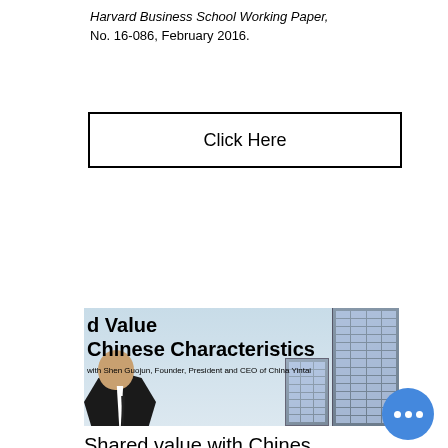Harvard Business School Working Paper, No. 16-086, February 2016.
Click Here
[Figure (photo): Book or article cover image showing partial title 'd Value Chinese Characteristics' with subtitle 'with Shen Guojun, Founder, President and CEO of China Yintai', a person in business attire on the left, and tall buildings on a light blue sky background on the right.]
Shared value with Chinese characteristics, an interview